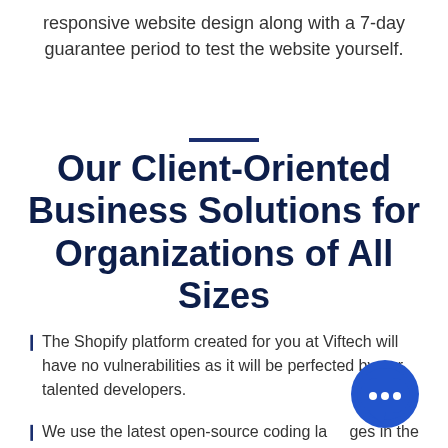responsive website design along with a 7-day guarantee period to test the website yourself.
Our Client-Oriented Business Solutions for Organizations of All Sizes
The Shopify platform created for you at Viftech will have no vulnerabilities as it will be perfected by our talented developers.
We use the latest open-source coding languages in the market that allow our projects to be